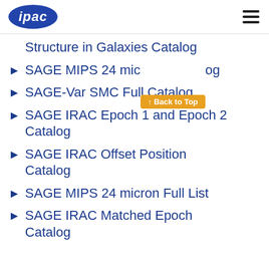ipac
Structure in Galaxies Catalog
SAGE MIPS 24 micron Catalog
SAGE-Var SMC Full Catalog
SAGE IRAC Epoch 1 and Epoch 2 Catalog
SAGE IRAC Offset Position Catalog
SAGE MIPS 24 micron Full List
SAGE IRAC Matched Epoch Catalog